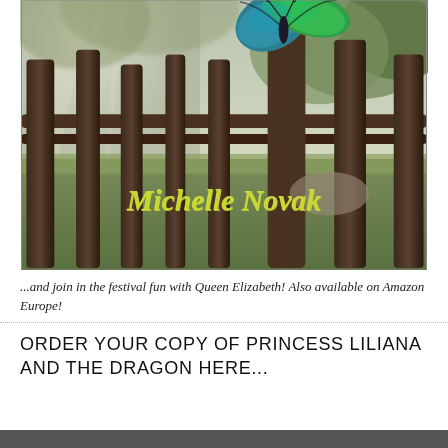[Figure (photo): Book cover or promotional image showing a rustic wooden fence with sunlight streaming through trees in a misty background, a large blue-green butterfly perched on top of a fence post, and the author name 'Michelle Novak' written in yellow-green stylized text overlaid on the lower center of the image.]
...and join in the festival fun with Queen Elizabeth! Also available on Amazon Europe!
ORDER YOUR COPY OF PRINCESS LILIANA AND THE DRAGON HERE...